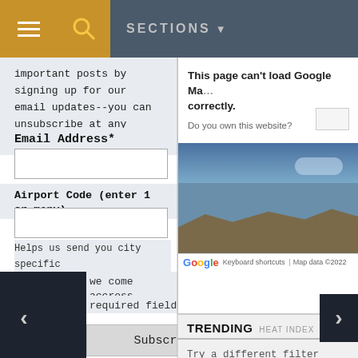SECTIONS
important posts by signing up for our email updates--you can unsubscribe at any time!
Email Address*
Airport Code (enter 1 or many)
Helps us send you city specific we come accross
required field
Subscribe
[Figure (screenshot): Google Maps error popup stating 'This page can't load Google Maps correctly.' with 'Do you own this website?' text and a map background showing terrain with Google logo and 'Keyboard shortcuts | Map data ©2022' footer]
TRENDING  HEAT INDEX
Try a different filter
LATEST ARTICLES
Careful: Delta's "Premium Select" Doesn't Always Get ...
6669